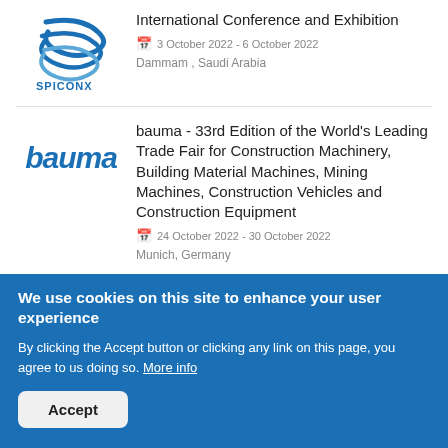[Figure (logo): SPICONX logo with blue swirl lines and text]
International Conference and Exhibition
3 October 2022 - 6 October 2022
Dammam , Saudi Arabia
[Figure (logo): bauma logo in bold blue italic text]
bauma - 33rd Edition of the World's Leading Trade Fair for Construction Machinery, Building Material Machines, Mining Machines, Construction Vehicles and Construction Equipment
24 October 2022 - 30 October 2022
Munich, Germany
We use cookies on this site to enhance your user experience
By clicking the Accept button or clicking any link on this page, you agree to us doing so. More info
Accept